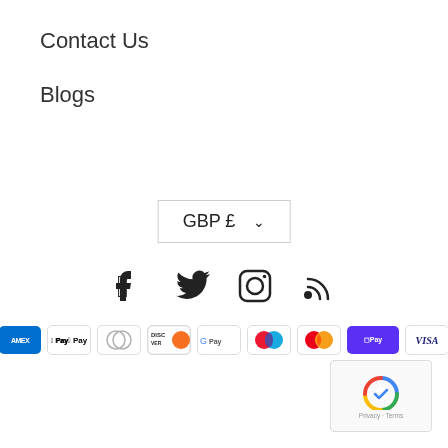Contact Us
Blogs
GBP £ ▾
[Figure (infographic): Social media icons: Facebook, Twitter, Instagram, RSS feed]
[Figure (infographic): Payment method icons: American Express, Apple Pay, Diners Club, Discover, Google Pay, Maestro, Mastercard, Shop Pay, Visa]
[Figure (infographic): Google reCAPTCHA badge with Privacy and Terms links]